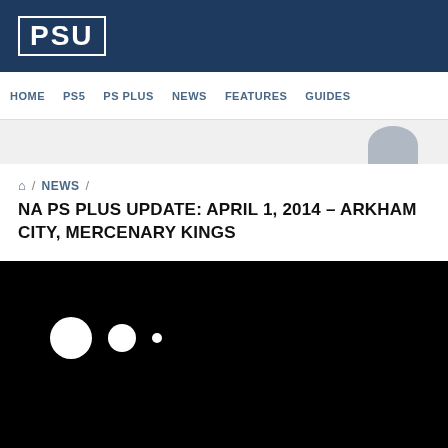PSU
HOME  PS5  PS PLUS  NEWS  FEATURES  GUIDES
[Figure (other): Gray banner/advertisement area with a rounded arch shape on the right side]
⌂ / NEWS / NA PS PLUS UPDATE: APRIL 1, 2014 – ARKHAM CITY, MERCENARY KINGS
NA PS PLUS UPDATE: APRIL 1, 2014 – ARKHAM CITY, MERCENARY KINGS
[Figure (other): Black video player area with three white loading dots (large, medium, small) visible in the upper-left portion]